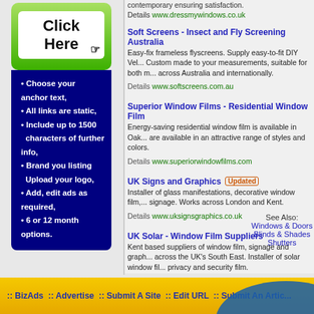[Figure (illustration): Green 'Click Here' button with cursor icon on a gradient green background panel]
- Choose your anchor text,
- All links are static,
- Include up to 1500 characters of further info,
- Brand you listing Upload your logo,
- Add, edit ads as required,
- 6 or 12 month options.
contemporary ensuring satisfaction. Details www.dressmywindows.co.uk
Soft Screens - Insect and Fly Screening Australia
Easy-fix frameless flyscreens. Supply easy-to-fit DIY Vel... Custom made to your measurements, suitable for both m... across Australia and internationally. Details www.softscreens.com.au
Superior Window Films - Residential Window Film
Energy-saving residential window film is available in Oak... are available in an attractive range of styles and colors. Details www.superiorwindowfilms.com
UK Signs and Graphics  Updated
Installer of glass manifestations, decorative window film,... signage. Works across London and Kent. Details www.uksignsgraphics.co.uk
UK Solar - Window Film Suppliers
Kent based suppliers of window film, signage and graph... across the UK's South East. Installer of solar window fil... privacy and security film. Details www.uksolar.com
Window Wallpaper - Privacy Window Film
Provide a modern way to create privacy, as well as provi... home. Details www.windowwallpaper.co.uk
See Also:
Windows & Doors
Blinds & Shades
Shutters
:: BizAds :: Advertise :: Submit A Site :: Edit URL :: Submit An Artic...